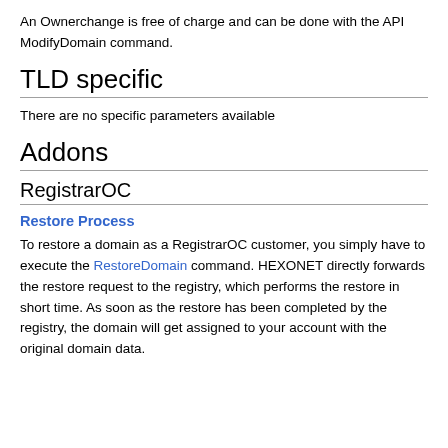An Ownerchange is free of charge and can be done with the API ModifyDomain command.
TLD specific
There are no specific parameters available
Addons
RegistrarOC
Restore Process
To restore a domain as a RegistrarOC customer, you simply have to execute the RestoreDomain command. HEXONET directly forwards the restore request to the registry, which performs the restore in short time. As soon as the restore has been completed by the registry, the domain will get assigned to your account with the original domain data.